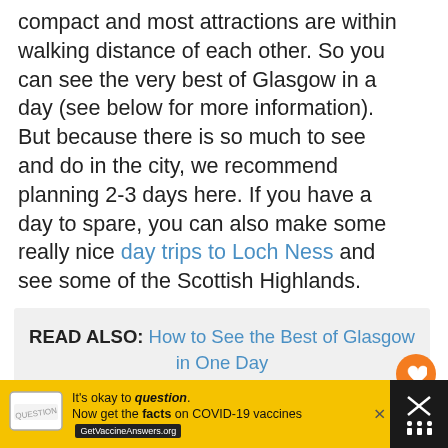compact and most attractions are within walking distance of each other. So you can see the very best of Glasgow in a day (see below for more information). But because there is so much to see and do in the city, we recommend planning 2-3 days here. If you have a day to spare, you can also make some really nice day trips to Loch Ness and see some of the Scottish Highlands.
READ ALSO: How to See the Best of Glasgow in One Day
[Figure (photo): Partial view of a building spire against a blue sky, partially visible at the bottom of the page]
It's okay to question. Now get the facts on COVID-19 vaccines GetVaccineAnswers.org